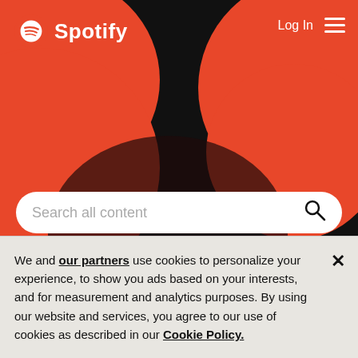[Figure (screenshot): Spotify website header with red decorative circles, Spotify logo (white), Log In text and hamburger menu on the right, all on dark background]
Search all content
Home / Help / iOS
iOS (iPhone, iPad)
We and our partners use cookies to personalize your experience, to show you ads based on your interests, and for measurement and analytics purposes. By using our website and services, you agree to our use of cookies as described in our Cookie Policy.